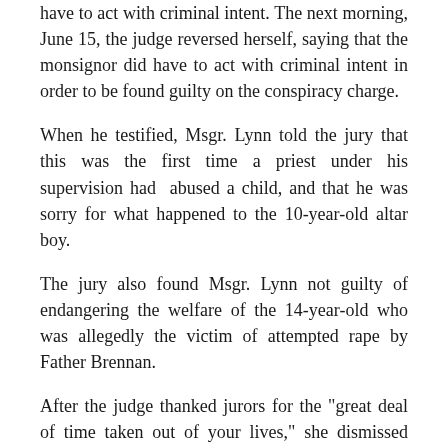have to act with criminal intent. The next morning, June 15, the judge reversed herself, saying that the monsignor did have to act with criminal intent in order to be found guilty on the conspiracy charge.
When he testified, Msgr. Lynn told the jury that this was the first time a priest under his supervision had abused a child, and that he was sorry for what happened to the 10-year-old altar boy.
The jury also found Msgr. Lynn not guilty of endangering the welfare of the 14-year-old who was allegedly the victim of attempted rape by Father Brennan.
After the judge thanked jurors for the "great deal of time taken out of your lives," she dismissed them. A stampede of reporters was allowed to bolt the courtroom, and head for their cell phones, which for the past three months, have not been allowed in the courtroom of Judge Sarmina.
The court deputies locked the doors of the courtroom again